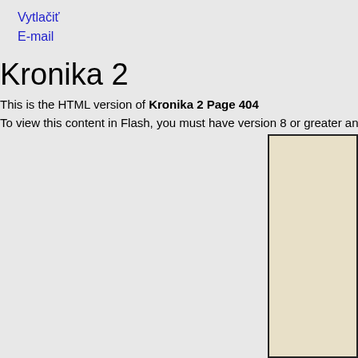Vytlačiť
E-mail
Kronika 2
This is the HTML version of Kronika 2 Page 404
To view this content in Flash, you must have version 8 or greater and .
[Figure (photo): Partial view of a yellowed/aged document page with dark border, cropped on the right side of the page]